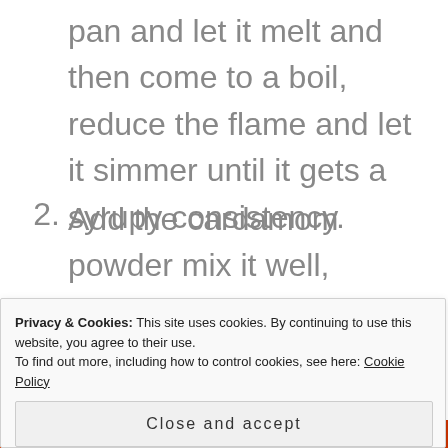pan and let it melt and then come to a boil, reduce the flame and let it simmer until it gets a syrupy consistency.
2. Add the cardamom powder mix it well, immediately take it off the heat and let it cool.
Privacy & Cookies: This site uses cookies. By continuing to use this website, you agree to their use.
To find out more, including how to control cookies, see here: Cookie Policy
Close and accept